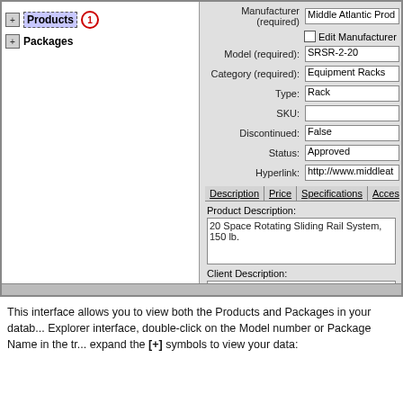[Figure (screenshot): Software interface showing a product/package tree panel on the left with 'Products' (highlighted, with badge '1') and 'Packages' items. Right panel shows a form with fields: Manufacturer (required) = 'Middle Atlantic Prod...', Edit Manufacturer checkbox, Model (required) = 'SRSR-2-20', Category (required) = 'Equipment Racks', Type = 'Rack', SKU = (empty), Discontinued = 'False', Status = 'Approved', Hyperlink = 'http://www.middleat...'. Below is a tab bar with tabs: Description, Price, Specifications, Acces... The Description tab shows Product Description field with text '20 Space Rotating Sliding Rail System, 150 lb...' and Client Description field with '20 Space Rotating Sliding Rail System, 150 lb...']
This interface allows you to view both the Products and Packages in your database. Explorer interface, double-click on the Model number or Package Name in the tree to expand the [+] symbols to view your data: